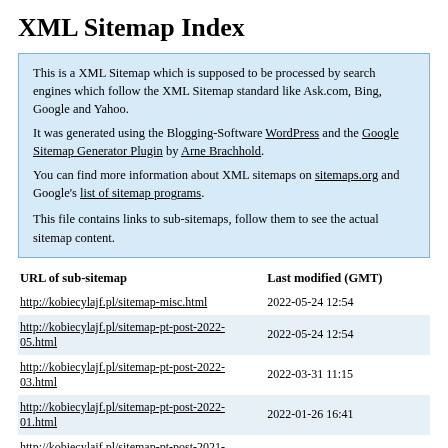XML Sitemap Index
This is a XML Sitemap which is supposed to be processed by search engines which follow the XML Sitemap standard like Ask.com, Bing, Google and Yahoo.
It was generated using the Blogging-Software WordPress and the Google Sitemap Generator Plugin by Arne Brachhold.
You can find more information about XML sitemaps on sitemaps.org and Google's list of sitemap programs.

This file contains links to sub-sitemaps, follow them to see the actual sitemap content.
| URL of sub-sitemap | Last modified (GMT) |
| --- | --- |
| http://kobiecylajf.pl/sitemap-misc.html | 2022-05-24 12:54 |
| http://kobiecylajf.pl/sitemap-pt-post-2022-05.html | 2022-05-24 12:54 |
| http://kobiecylajf.pl/sitemap-pt-post-2022-03.html | 2022-03-31 11:15 |
| http://kobiecylajf.pl/sitemap-pt-post-2022-01.html | 2022-01-26 16:41 |
| http://kobiecylajf.pl/sitemap-pt-post-2021-11.html | 2021-11-08 14:44 |
| http://kobiecylajf.pl/sitemap-pt-post-2021-09.html | 2021-09-29 09:51 |